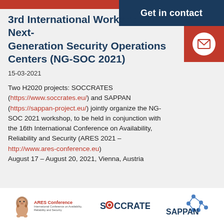3rd International Workshop on Next-Generation Security Operations Centers (NG-SOC 2021)
15-03-2021
Two H2020 projects: SOCCRATES (https://www.soccrates.eu/) and SAPPAN (https://sappan-project.eu/) jointly organize the NG-SOC 2021 workshop, to be held in conjunction with the 16th International Conference on Availability, Reliability and Security (ARES 2021 – http://www.ares-conference.eu) August 17 – August 20, 2021, Vienna, Austria
[Figure (logo): ARES Conference logo with lion illustration and text 'ARES Conference / International Conference on Availability, Reliability and Security']
[Figure (logo): SOCCRATES logo in bold dark blue with red circle replacing first O]
[Figure (logo): SAPPAN logo with network graph illustration in blue]